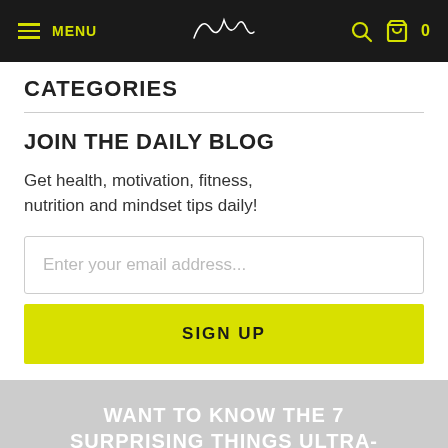MENU | [logo] | [search icon] | [cart icon] 0
CATEGORIES
JOIN THE DAILY BLOG
Get health, motivation, fitness, nutrition and mindset tips daily!
Enter your email address...
SIGN UP
WANT TO KNOW THE 7 SURPRISING THINGS ULTRA-